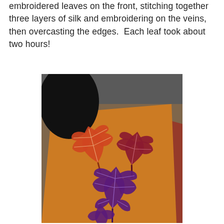embroidered leaves on the front, stitching together three layers of silk and embroidering on the veins, then overcasting the edges.  Each leaf took about two hours!
[Figure (photo): A photograph showing an orange/golden patterned fabric garment with three embroidered maple leaves — one orange-red, one dark red/crimson, and one purple — arranged on the fabric. The background shows a dark gray surface and a burgundy/dark red fabric at the edge. A black object (possibly a dress form or stand) is partially visible in the upper left corner.]